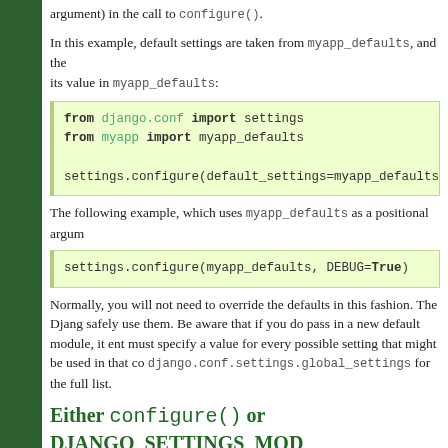argument) in the call to configure().
In this example, default settings are taken from myapp_defaults, and the its value in myapp_defaults:
[Figure (screenshot): Code block: from django.conf import settings / from myapp import myapp_defaults / settings.configure(default_settings=myapp_defaults, DEBU]
The following example, which uses myapp_defaults as a positional argum
[Figure (screenshot): Code block: settings.configure(myapp_defaults, DEBUG=True)]
Normally, you will not need to override the defaults in this fashion. The Djang safely use them. Be aware that if you do pass in a new default module, it ent must specify a value for every possible setting that might be used in that co django.conf.settings.global_settings for the full list.
Either configure() or DJANGO_SETTINGS_MOD
If you're not setting the DJANGO_SETTINGS_MODULE environment variable, before using any code that reads settings.
If you don't set DJANGO_SETTINGS_MODULE and don't call configure(), exception the first time a setting is accessed.